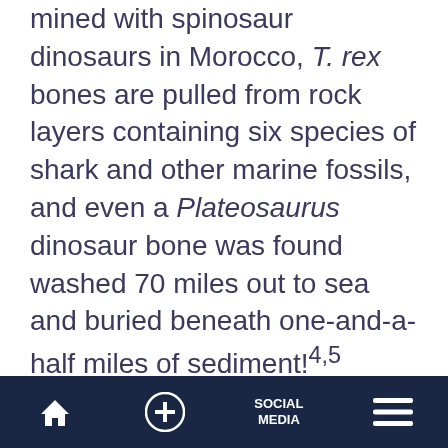mined with spinosaur dinosaurs in Morocco, T. rex bones are pulled from rock layers containing six species of shark and other marine fossils, and even a Plateosaurus dinosaur bone was found washed 70 miles out to sea and buried beneath one-and-a-half miles of sediment!4,5
Simms' suggestion that the pair of dinosaurs were possibly swept out to sea is a little too simplistic. Animals washed out to sea are usually eaten by scavengers or decay away. They do not become buried
Home | + | SOCIAL MEDIA | Menu